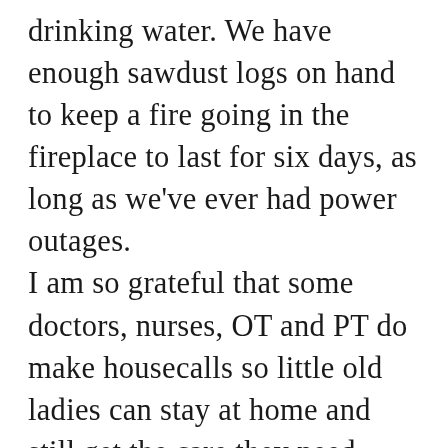drinking water. We have enough sawdust logs on hand to keep a fire going in the fireplace to last for six days, as long as we've ever had power outages. I am so grateful that some doctors, nurses, OT and PT do make housecalls so little old ladies can stay at home and still get the care they need. Pandemic or no pandemic, we would have been housebound this year. Knowing nearly EVERYBODY was stuck at home made our circumstances a bit easier to